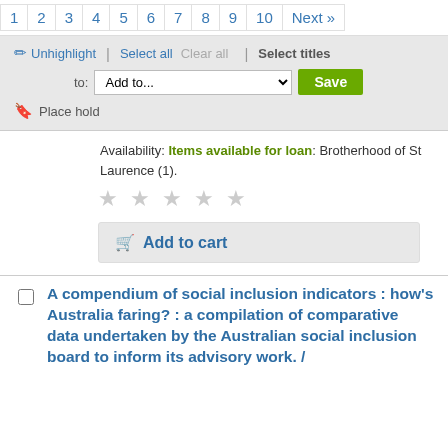1 2 3 4 5 6 7 8 9 10 Next »
Unhighlight | Select all Clear all | Select titles to: Add to... Save Place hold
Availability: Items available for loan: Brotherhood of St Laurence (1).
★★★★★
Add to cart
A compendium of social inclusion indicators : how's Australia faring? : a compilation of comparative data undertaken by the Australian social inclusion board to inform its advisory work. /